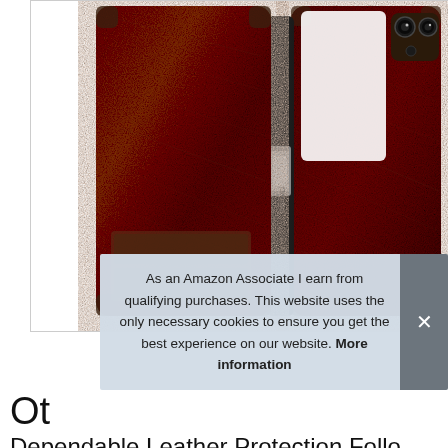[Figure (photo): Product photo of an OtterBox brown leather wallet/folio case for iPhone 11, showing the front and back of the case with crinkled leather texture and a silver clasp/latch in the middle]
As an Amazon Associate I earn from qualifying purchases. This website uses the only necessary cookies to ensure you get the best experience on our website. More information
Ot
Dependable Leather Protection Follo...